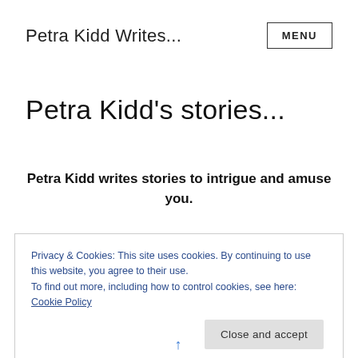Petra Kidd Writes...
Petra Kidd's stories...
Petra Kidd writes stories to intrigue and amuse you.
Privacy & Cookies: This site uses cookies. By continuing to use this website, you agree to their use.
To find out more, including how to control cookies, see here: Cookie Policy
Close and accept